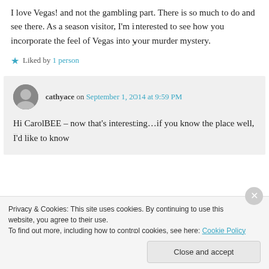I love Vegas! and not the gambling part. There is so much to do and see there. As a season visitor, I'm interested to see how you incorporate the feel of Vegas into your murder mystery.
Liked by 1 person
cathyace on September 1, 2014 at 9:59 PM
Hi CarolBEE – now that's interesting…if you know the place well, I'd like to know
Privacy & Cookies: This site uses cookies. By continuing to use this website, you agree to their use.
To find out more, including how to control cookies, see here: Cookie Policy